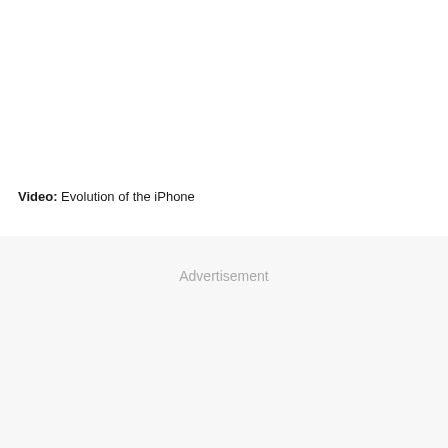Video: Evolution of the iPhone
Advertisement